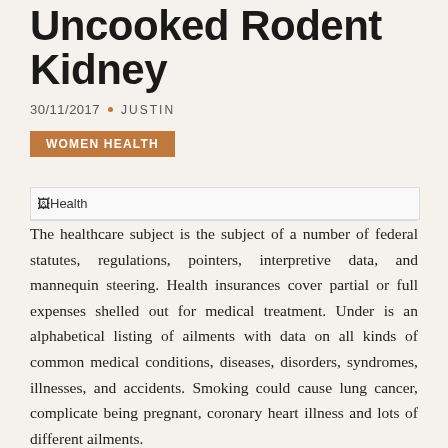Uncooked Rodent Kidney
30/11/2017 • JUSTIN
WOMEN HEALTH
[Figure (photo): Health image placeholder (broken image icon with alt text 'Health')]
The healthcare subject is the subject of a number of federal statutes, regulations, pointers, interpretive data, and mannequin steering. Health insurances cover partial or full expenses shelled out for medical treatment. Under is an alphabetical listing of ailments with data on all kinds of common medical conditions, diseases, disorders, syndromes, illnesses, and accidents. Smoking could cause lung cancer, complicate being pregnant, coronary heart illness and lots of different ailments.
Common medical situations which can be coated include communicable and infectious diseases, frequent medical diseases and accidents, psychological problems, genetic problems, pores and skin illnesses, blood issues, lung